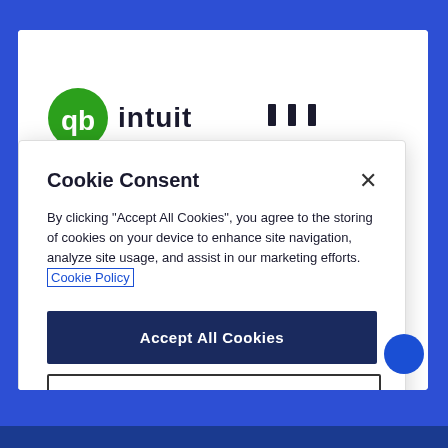[Figure (screenshot): Intuit QuickBooks logo and branding visible behind a cookie consent dialog overlay on a blue background]
Cookie Consent
By clicking "Accept All Cookies", you agree to the storing of cookies on your device to enhance site navigation, analyze site usage, and assist in our marketing efforts. Cookie Policy
Accept All Cookies
Cookie Settings